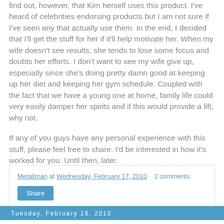find out, however, that Kim herself uses this product.  I've heard of celebrities endorsing products but I am not sure if I've seen any that actually use them.  In the end, I decided that I'll get the stuff for her if it'll help motivate her.  When my wife doesn't see results, she tends to lose some focus and doubts her efforts.  I don't want to see my wife give up, especially since she's doing pretty damn good at keeping up her diet and keeping her gym schedule.  Coupled with the fact that we have a young one at home, family life could very easily damper her spirits and if this would provide a lift, why not.
If any of you guys have any personal experience with this stuff, please feel free to share.  I'd be interested in how it's worked for you.  Until then, later.
Metallman at Wednesday, February 17, 2010    2 comments:
Share
Tuesday, February 16, 2010